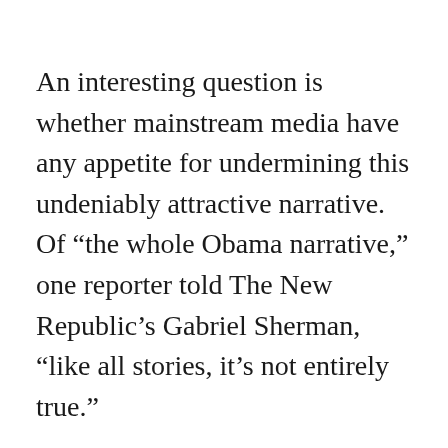An interesting question is whether mainstream media have any appetite for undermining this undeniably attractive narrative. Of "the whole Obama narrative," one reporter told The New Republic's Gabriel Sherman, "like all stories, it's not entirely true."
Obama's record of reaching across party lines is, as his own answer to Rick Warren's recent Saddleback Civil Forum showed, pretty thin. His paper trail is surprisingly thin, too. He has left no papers from his Illinois Senate days; he hasn't listed his law firm clients or provided